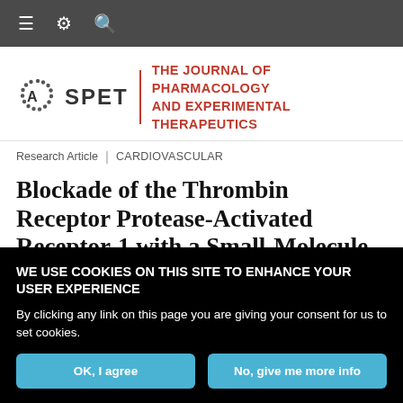Navigation bar with menu, settings, and search icons
[Figure (logo): ASPET logo with dots and The Journal of Pharmacology and Experimental Therapeutics title in red]
Research Article | CARDIOVASCULAR
Blockade of the Thrombin Receptor Protease-Activated Receptor-1 with a Small-Molecule Antagonist Prevents
WE USE COOKIES ON THIS SITE TO ENHANCE YOUR USER EXPERIENCE

By clicking any link on this page you are giving your consent for us to set cookies.

OK, I agree | No, give me more info